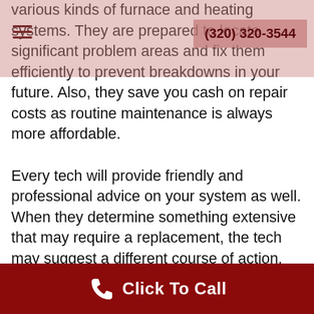(320) 320-3544
various kinds of furnace and heating systems. They are prepared to locate significant problem areas and fix them efficiently to prevent breakdowns in your future. Also, they save you cash on repair costs as routine maintenance is always more affordable.
Every tech will provide friendly and professional advice on your system as well. When they determine something extensive that may require a replacement, the tech may suggest a different course of action.
Your furnace service professional works around your itinerary, coming out to you and working on your heat when it's most
Click To Call